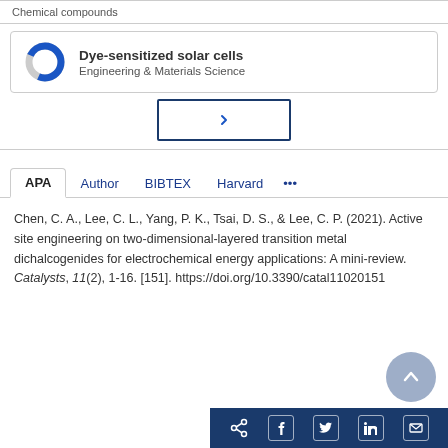Chemical compounds
[Figure (donut-chart): Partial donut chart icon in blue and grey for Dye-sensitized solar cells keyword]
Dye-sensitized solar cells
Engineering & Materials Science
[Figure (other): Button with right arrow chevron to show more]
APA
Author
BIBTEX
Harvard
•••
Chen, C. A., Lee, C. L., Yang, P. K., Tsai, D. S., & Lee, C. P. (2021). Active site engineering on two-dimensional-layered transition metal dichalcogenides for electrochemical energy applications: A mini-review. Catalysts, 11(2), 1-16. [151]. https://doi.org/10.3390/catal11020151